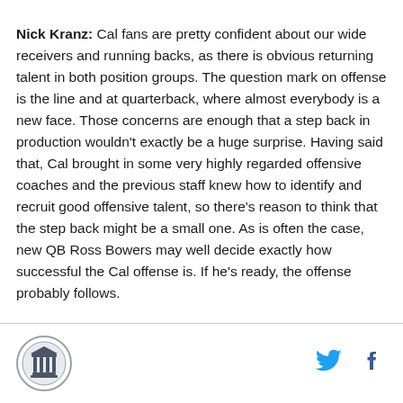Nick Kranz: Cal fans are pretty confident about our wide receivers and running backs, as there is obvious returning talent in both position groups. The question mark on offense is the line and at quarterback, where almost everybody is a new face. Those concerns are enough that a step back in production wouldn't exactly be a huge surprise. Having said that, Cal brought in some very highly regarded offensive coaches and the previous staff knew how to identify and recruit good offensive talent, so there's reason to think that the step back might be a small one. As is often the case, new QB Ross Bowers may well decide exactly how successful the Cal offense is. If he's ready, the offense probably follows.
[Figure (logo): Circular logo with a column/building icon inside, representing a sports or university publication]